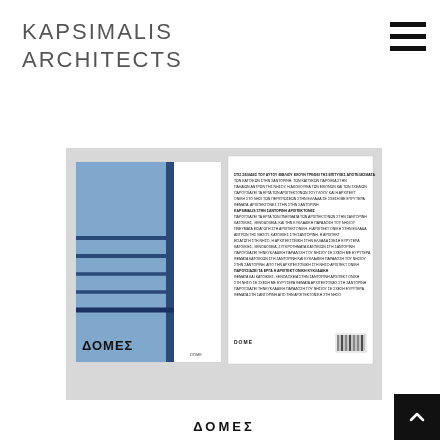KAPSIMALIS
ARCHITECTS
[Figure (photo): Two views of a magazine or book called ΔΟΜΕΣ (DOME) — front cover showing a blue architectural facade with horizontal bands and dark vertical lines, and back cover with dense Greek text and a barcode. Books displayed on a light gray background.]
ΔΟΜΕΣ